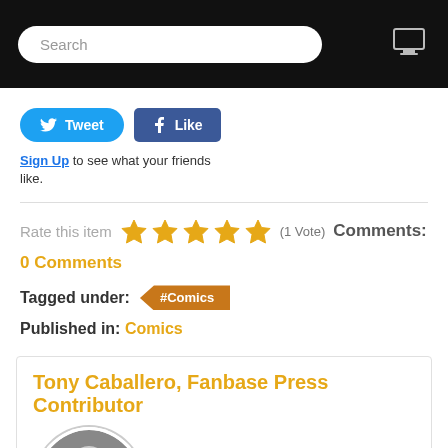Search
Tweet  Like  Sign Up to see what your friends like.
Rate this item  (1 Vote) Comments: 0 Comments
Tagged under: #Comics
Published in: Comics
Tony Caballero, Fanbase Press Contributor
[Figure (photo): Black and white oval portrait photo of Tony Caballero, a bald man smiling, wearing a light jacket with a scarf]
Go to top